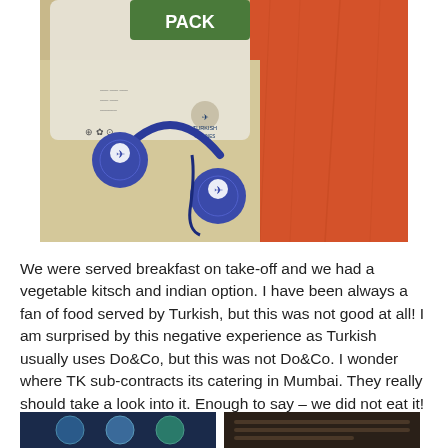[Figure (photo): Turkish Airlines comfort pack bag with blue Turkish Airlines headphones sitting on beige fabric, with an orange pillow visible in the background]
We were served breakfast on take-off and we had a vegetable kitsch and indian option. I have been always a fan of food served by Turkish, but this was not good at all! I am surprised by this negative experience as Turkish usually uses Do&Co, but this was not Do&Co. I wonder where TK sub-contracts its catering in Mumbai. They really should take a look into it. Enough to say – we did not eat it!
[Figure (photo): Close-up photo showing Turkish Airlines branded items, partially visible at bottom left]
[Figure (photo): Airplane tray or seat item, partially visible at bottom right]